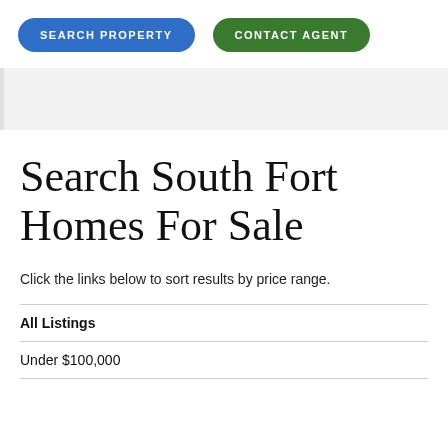[Figure (other): Navigation buttons: 'SEARCH PROPERTY' (blue pill button) and 'CONTACT AGENT' (green pill button)]
[Figure (other): Gray banner/image placeholder band]
Search South Fort Homes For Sale
Click the links below to sort results by price range.
All Listings
Under $100,000